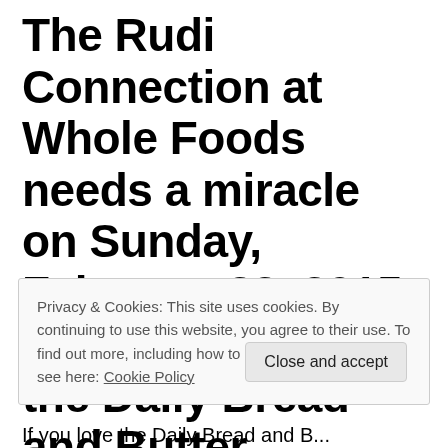The Rudi Connection at Whole Foods needs a miracle on Sunday, February 22, 2015 to keep earning the Daily Bread and Butter
Privacy & Cookies: This site uses cookies. By continuing to use this website, you agree to their use. To find out more, including how to c… see here: Cookie Policy
If you love the Daily Bread and Butter...